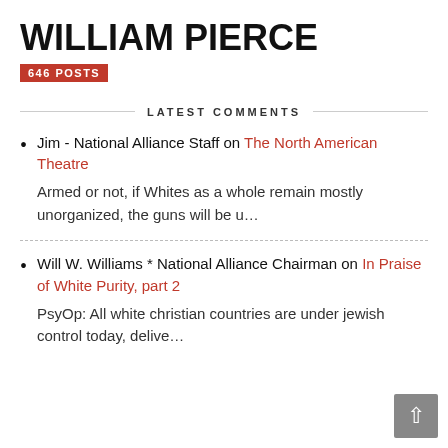WILLIAM PIERCE
646 POSTS
LATEST COMMENTS
Jim - National Alliance Staff on The North American Theatre
Armed or not, if Whites as a whole remain mostly unorganized, the guns will be u…
Will W. Williams * National Alliance Chairman on In Praise of White Purity, part 2
PsyOp: All white christian countries are under jewish control today, delive…